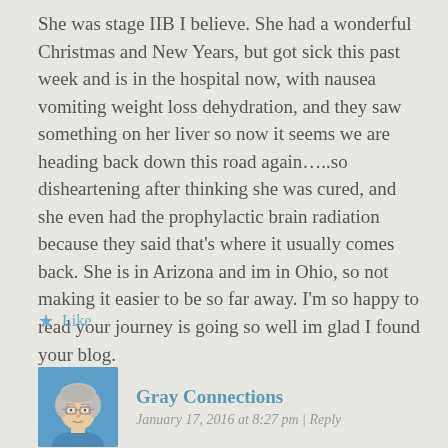She was stage IIB I believe. She had a wonderful Christmas and New Years, but got sick this past week and is in the hospital now, with nausea vomiting weight loss dehydration, and they saw something on her liver so now it seems we are heading back down this road again…..so disheartening after thinking she was cured, and she even had the prophylactic brain radiation because they said that's where it usually comes back. She is in Arizona and im in Ohio, so not making it easier to be so far away. I'm so happy to read your journey is going so well im glad I found your blog.
Like
[Figure (illustration): Avatar illustration of an older woman with gray hair and glasses, wearing a blue top, cartoon/illustration style]
Gray Connections
January 17, 2016 at 8:27 pm | Reply